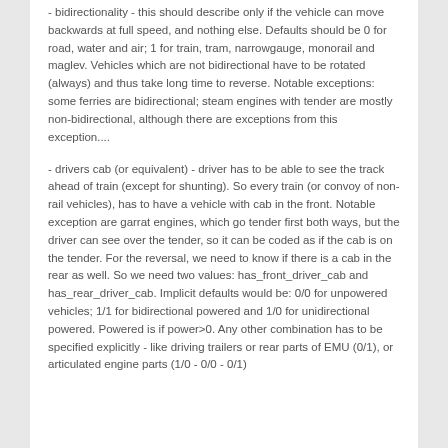- bidirectionality - this should describe only if the vehicle can move backwards at full speed, and nothing else. Defaults should be 0 for road, water and air; 1 for train, tram, narrowgauge, monorail and maglev. Vehicles which are not bidirectional have to be rotated (always) and thus take long time to reverse. Notable exceptions: some ferries are bidirectional; steam engines with tender are mostly non-bidirectional, although there are exceptions from this exception....
- drivers cab (or equivalent) - driver has to be able to see the track ahead of train (except for shunting). So every train (or convoy of non-rail vehicles), has to have a vehicle with cab in the front. Notable exception are garrat engines, which go tender first both ways, but the driver can see over the tender, so it can be coded as if the cab is on the tender. For the reversal, we need to know if there is a cab in the rear as well. So we need two values: has_front_driver_cab and has_rear_driver_cab. Implicit defaults would be: 0/0 for unpowered vehicles; 1/1 for bidirectional powered and 1/0 for unidirectional powered. Powered is if power>0. Any other combination has to be specified explicitly - like driving trailers or rear parts of EMU (0/1), or articulated engine parts (1/0 - 0/0 - 0/1)